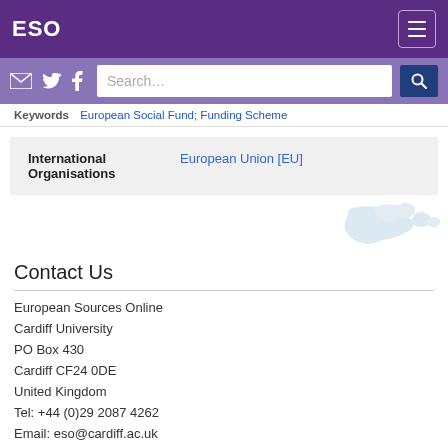ESO
Keywords: European Social Fund; Funding Scheme
| International Organisations | European Union [EU] |
| --- | --- |
[Figure (map): Light blue map of Europe in the upper right corner]
Contact Us
European Sources Online
Cardiff University
PO Box 430
Cardiff CF24 0DE
United Kingdom
Tel: +44 (0)29 2087 4262
Email: eso@cardiff.ac.uk
[Figure (logo): Europe Direct logo with EU stars]